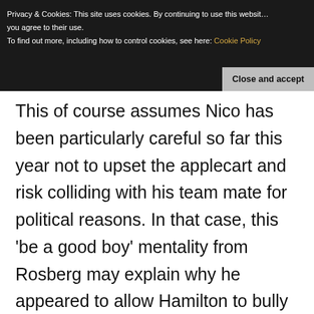Privacy & Cookies: This site uses cookies. By continuing to use this website, you agree to their use.
To find out more, including how to control cookies, see here: Cookie Policy
Close and accept
This of course assumes Nico has been particularly careful so far this year not to upset the applecart and risk colliding with his team mate for political reasons. In that case, this ‘be a good boy’ mentality from Rosberg may explain why he appeared to allow Hamilton to bully him during their epic battle in Bahrain.